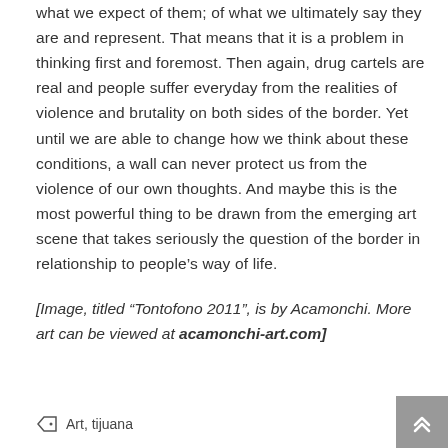what we expect of them; of what we ultimately say they are and represent. That means that it is a problem in thinking first and foremost. Then again, drug cartels are real and people suffer everyday from the realities of violence and brutality on both sides of the border. Yet until we are able to change how we think about these conditions, a wall can never protect us from the violence of our own thoughts. And maybe this is the most powerful thing to be drawn from the emerging art scene that takes seriously the question of the border in relationship to people's way of life.
[Image, titled “Tontofono 2011”, is by Acamonchi. More art can be viewed at acamonchi-art.com]
Art, tijuana